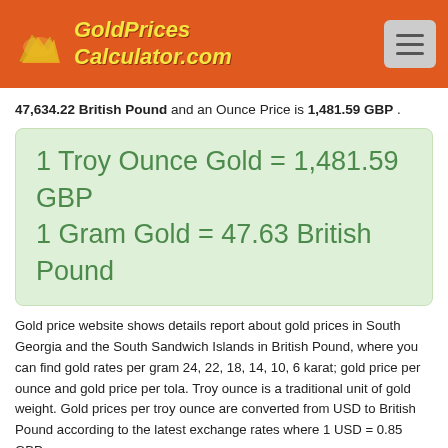GoldPrices Calculator.com
47,634.22 British Pound and an Ounce Price is 1,481.59 GBP .
1 Troy Ounce Gold = 1,481.59 GBP
1 Gram Gold = 47.63 British Pound
Gold price website shows details report about gold prices in South Georgia and the South Sandwich Islands in British Pound, where you can find gold rates per gram 24, 22, 18, 14, 10, 6 karat; gold price per ounce and gold price per tola. Troy ounce is a traditional unit of gold weight. Gold prices per troy ounce are converted from USD to British Pound according to the latest exchange rates where 1 USD = 0.85 GBP
Price of Gold in British Pound